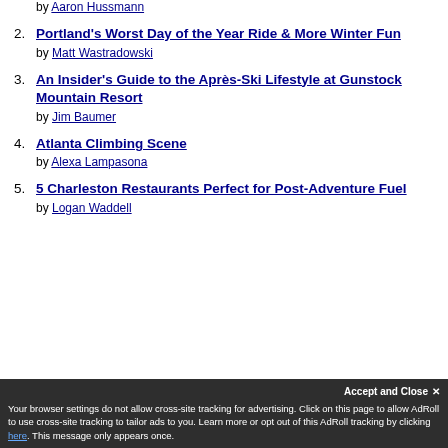by Aaron Hussmann
2. Portland's Worst Day of the Year Ride & More Winter Fun
by Matt Wastradowski
3. An Insider's Guide to the Après-Ski Lifestyle at Gunstock Mountain Resort
by Jim Baumer
4. Atlanta Climbing Scene
by Alexa Lampasona
5. 5 Charleston Restaurants Perfect for Post-Adventure Fuel
by Logan Waddell
Your browser settings do not allow cross-site tracking for advertising. Click on this page to allow AdRoll to use cross-site tracking to tailor ads to you. Learn more or opt out of this AdRoll tracking by clicking here. This message only appears once.